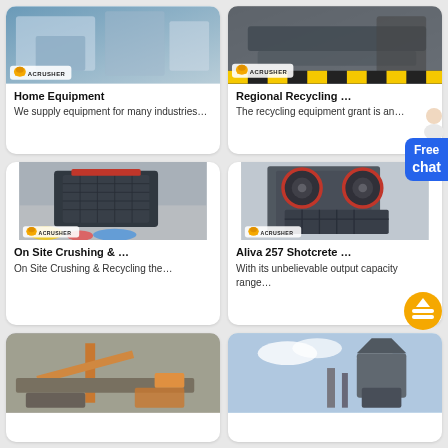[Figure (photo): Industrial crushing/screening equipment in a factory with Acrusher logo overlay]
Home Equipment
We supply equipment for many industries…
[Figure (photo): Industrial conveyor/recycling equipment with Acrusher logo overlay]
Regional Recycling …
The recycling equipment grant is an…
[Figure (photo): Large industrial impact crusher machine indoors with Acrusher logo overlay]
On Site Crushing & …
On Site Crushing & Recycling the…
[Figure (photo): Jaw crusher machine in factory with Acrusher logo overlay]
Aliva 257 Shotcrete …
With its unbelievable output capacity range…
[Figure (photo): Heavy construction/industrial equipment outdoors]
[Figure (photo): Industrial silo or cone crusher against cloudy sky]